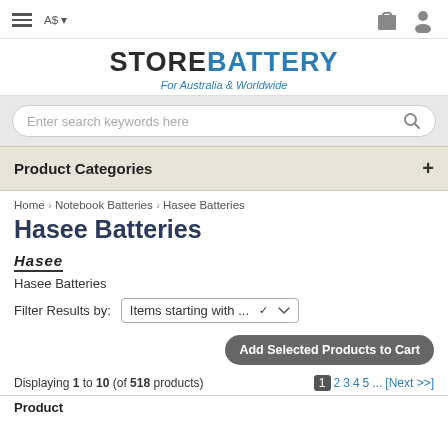STOREBATTERY - For Australia & Worldwide
Enter search keywords here
Product Categories
Home › Notebook Batteries › Hasee Batteries
Hasee Batteries
[Figure (logo): Hasee brand logo in bold italic text]
Hasee Batteries
Filter Results by: Items starting with ...
Add Selected Products to Cart
Displaying 1 to 10 (of 518 products)  1 2 3 4 5 ... [Next >>]
Product